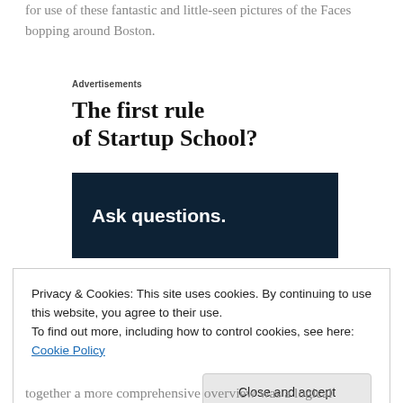for use of these fantastic and little-seen pictures of the Faces bopping around Boston.
Advertisements
The first rule of Startup School?
[Figure (other): Dark navy blue advertisement banner with white bold text reading 'Ask questions.']
Privacy & Cookies: This site uses cookies. By continuing to use this website, you agree to their use.
To find out more, including how to control cookies, see here: Cookie Policy
together a more comprehensive overview was a logical